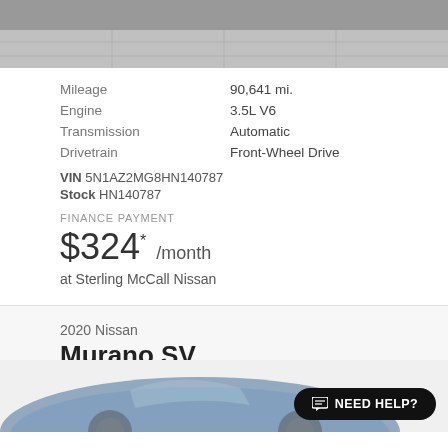[Figure (photo): Top portion of a car photographed on a tiled floor, grayscale image, partially cropped]
Mileage   90,641 mi.
Engine   3.5L V6
Transmission   Automatic
Drivetrain   Front-Wheel Drive
VIN 5N1AZ2MG8HN140787
Stock HN140787
FINANCE PAYMENT
$324* /month
at Sterling McCall Nissan
2020 Nissan
Murano SV
[Figure (photo): Partial front/side view of a 2020 Nissan Murano SV in dark blue, bottom portion of car visible]